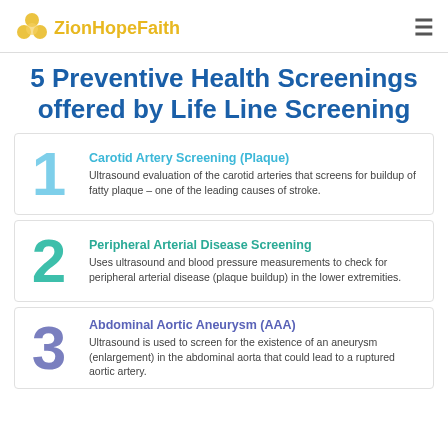ZionHopeFaith
5 Preventive Health Screenings offered by Life Line Screening
1 Carotid Artery Screening (Plaque) — Ultrasound evaluation of the carotid arteries that screens for buildup of fatty plaque – one of the leading causes of stroke.
2 Peripheral Arterial Disease Screening — Uses ultrasound and blood pressure measurements to check for peripheral arterial disease (plaque buildup) in the lower extremities.
3 Abdominal Aortic Aneurysm (AAA) — Ultrasound is used to screen for the existence of an aneurysm (enlargement) in the abdominal aorta that could lead to a ruptured aortic artery.